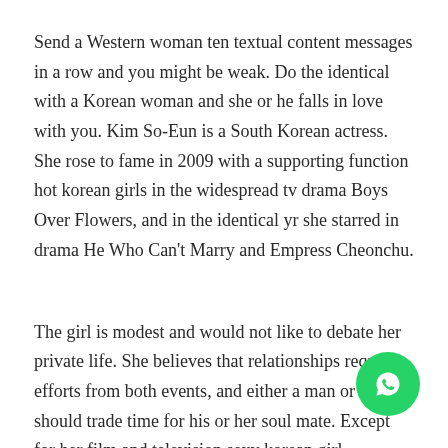Send a Western woman ten textual content messages in a row and you might be weak. Do the identical with a Korean woman and she or he falls in love with you. Kim So-Eun is a South Korean actress. She rose to fame in 2009 with a supporting function hot korean girls in the widespread tv drama Boys Over Flowers, and in the identical yr she starred in drama He Who Can't Marry and Empress Cheonchu.
The girl is modest and would not like to debate her private life. She believes that relationships require efforts from both events, and either a man or a girl should trade time for his or her soul mate. Except for her film and television sexy korean girl appearances, she has also starred in two music videos and has recorded 5 singles. Nonetheless, her failure to
[Figure (illustration): WhatsApp contact/chat button — green circular icon with white phone handset silhouette, positioned bottom-right corner]